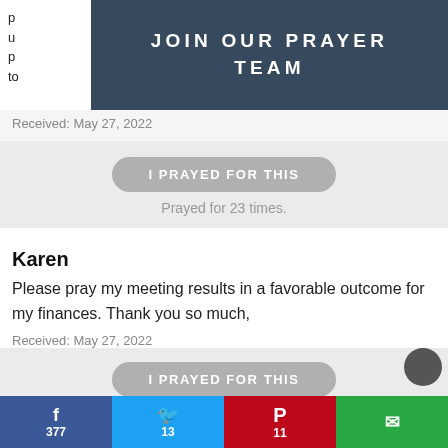[Figure (other): JOIN OUR PRAYER TEAM banner with dark blue-gray background and white bold spaced text]
Received: May 27, 2022
[Figure (other): Gray rounded button labeled 'I PRAYED FOR THIS']
Prayed for 23 times.
Karen
Please pray my meeting results in a favorable outcome for my finances. Thank you so much,
Received: May 27, 2022
[Figure (other): Gray rounded button labeled 'I PRAYED FOR THIS']
Prayed for 31 times.
Regina
My mom died in February from COVID complications—sh
f 377   Twitter 13   P 11   email icon